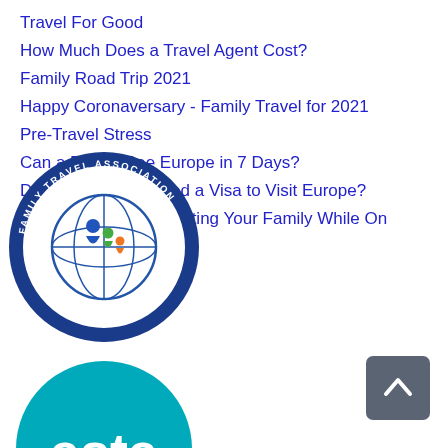Travel For Good
How Much Does a Travel Agent Cost?
Family Road Trip 2021
Happy Coronaversary - Family Travel for 2021
Pre-Travel Stress
Can a Family See Europe in 7 Days?
Do U.S. Citizens Need a Visa to Visit Europe?
How To Keep From Hating Your Family While On Vacation
[Figure (logo): Family Travel Association Certified Family Travel Agent circular logo badge]
[Figure (logo): ASTA teal semicircle logo with white text]
[Figure (other): Dark gray back-to-top button with upward chevron arrow]